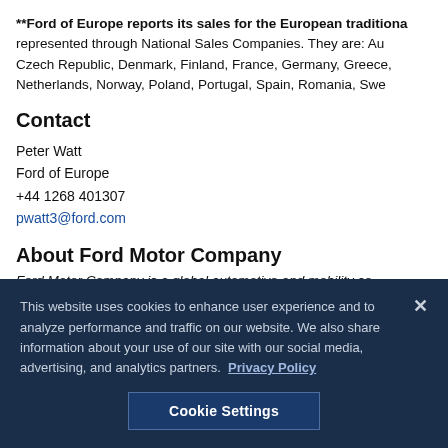**Ford of Europe reports its sales for the European traditional markets represented through National Sales Companies. They are: Au Czech Republic, Denmark, Finland, France, Germany, Greece, Netherlands, Norway, Poland, Portugal, Spain, Romania, Swe
Contact
Peter Watt
Ford of Europe
+44 1268 401307
pwatt3@ford.com
About Ford Motor Company
Ford Motor Company is a global automotive and mobility co
This website uses cookies to enhance user experience and to analyze performance and traffic on our website. We also share information about your use of our site with our social media, advertising, and analytics partners. Privacy Policy
Cookie Settings